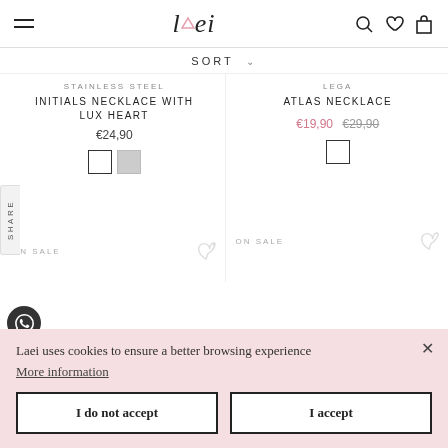laei
SORT
STAINLESS STEEL
INITIALS NECKLACE WITH LUX HEART
€24,90
LEGA
ATLAS NECKLACE
€19,90  €29,90
ON SALE
ON SALE
SHARE
Laei uses cookies to ensure a better browsing experience
More information
I do not accept
I accept